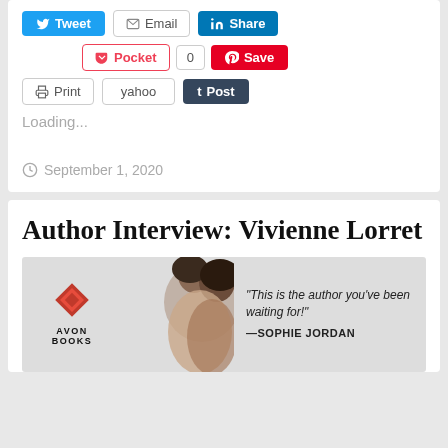[Figure (screenshot): Social sharing buttons row: Tweet (blue), Email (outlined), Share (LinkedIn blue)]
[Figure (screenshot): Social sharing buttons row 2: Pocket (red outlined), 0 (count), Save (Pinterest red)]
[Figure (screenshot): Social sharing buttons row 3: Print (outlined), yahoo (outlined), Post (Tumblr dark)]
Loading...
September 1, 2020
Author Interview: Vivienne Lorret
[Figure (photo): Book cover banner with Avon Books logo (red diamond), couple embracing silhouette, quote: 'This is the author you've been waiting for!' —SOPHIE JORDAN]